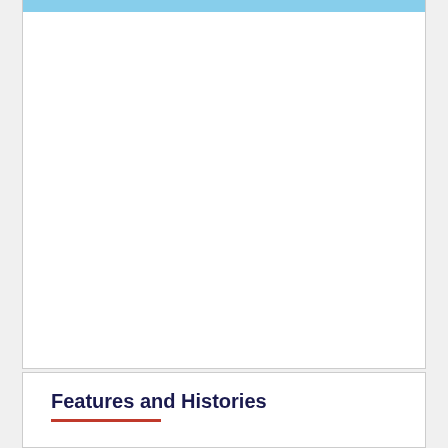[Figure (other): Blue horizontal bar at top of upper white panel section]
Features and Histories